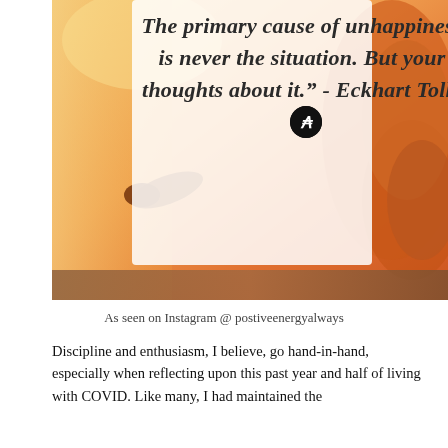[Figure (photo): Inspirational quote image with warm orange/sunset background showing a meditating person. White semi-transparent overlay in center contains italic quote text: 'The primary cause of unhappiness is never the situation. But your thoughts about it.' - Eckhart Tolle, with a black circular logo icon. A brown bar appears at the bottom of the image.]
As seen on Instagram @ postiveenergyalways
Discipline and enthusiasm, I believe, go hand-in-hand, especially when reflecting upon this past year and half of living with COVID. Like many, I had maintained the